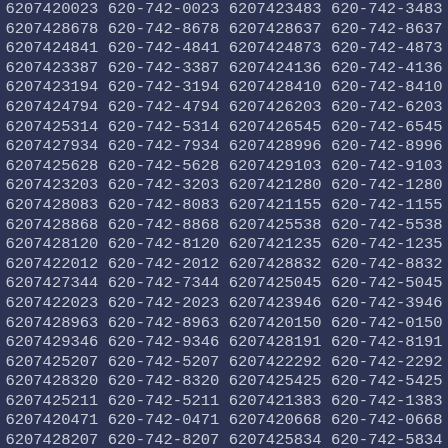6207420023 620-742-0023 6207423483 620-742-3483
6207428678 620-742-8678 6207428637 620-742-8637
6207424841 620-742-4841 6207424873 620-742-4873
6207423387 620-742-3387 6207424136 620-742-4136
6207423194 620-742-3194 6207428410 620-742-8410
6207424794 620-742-4794 6207426203 620-742-6203
6207425314 620-742-5314 6207426545 620-742-6545
6207427934 620-742-7934 6207428996 620-742-8996
6207425628 620-742-5628 6207429103 620-742-9103
6207423203 620-742-3203 6207421280 620-742-1280
6207428083 620-742-8083 6207421155 620-742-1155
6207428868 620-742-8868 6207425538 620-742-5538
6207428120 620-742-8120 6207421235 620-742-1235
6207422012 620-742-2012 6207428832 620-742-8832
6207427344 620-742-7344 6207425045 620-742-5045
6207422023 620-742-2023 6207423946 620-742-3946
6207428963 620-742-8963 6207420150 620-742-0150
6207429346 620-742-9346 6207428191 620-742-8191
6207425207 620-742-5207 6207422292 620-742-2292
6207428320 620-742-8320 6207425425 620-742-5425
6207425211 620-742-5211 6207421383 620-742-1383
6207420471 620-742-0471 6207420668 620-742-0668
6207428207 620-742-8207 6207425834 620-742-5834
6207427720 620-742-7720 6207425021 620-742-5021
6207421834 620-742-1834 6207428059 620-742-8059
6207421460 620-742-1460 6207423623 620-742-3623
6207425962 620-742-5962 6207423985 620-742-3985
6207422816 620-742-2816 6207424199 620-742-4199
6207422851 620-742-2851 6207424437 620-742-4437